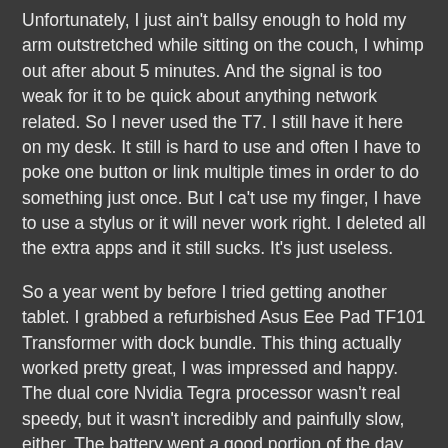Unfortunately, I just ain't ballsy enough to hold my arm outstretched while sitting on the couch, I whimp out after about 5 minutes. And the signal is too weak for it to be quick about anything network related. So I never used the T7. I still have it here on my desk. It still is hard to use and often I have to poke one button or link multiple times in order to do something just once. But I ca't use my finger, I have to use a stylus or it will never work right. I deleted all the extra apps and it still sucks. It's just useless.
So a year went by before I tried getting another tablet. I grabbed a refurbished Asus Eee Pad TF101 Transformer with dock bundle. This thing actually worked pretty great, I was impressed and happy. The dual core Nvidia Tegra processor wasn't real speedy, but it wasn't incredibly and painfully slow, either. The battery went a good portion of the day and if I had the keyboard dock plugged into it using it like a laptop, it would go all day long on the extra battery in the keyboard.
The TF101 Transformer was actually a good little tablet and I